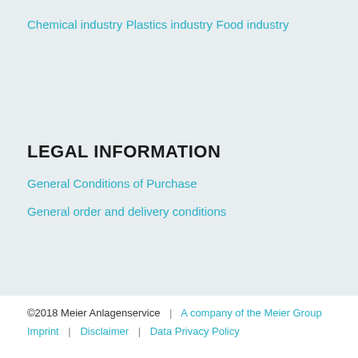Chemical industry
Plastics industry
Food industry
LEGAL INFORMATION
General Conditions of Purchase
General order and delivery conditions
©2018 Meier Anlagenservice | A company of the Meier Group  Imprint | Disclaimer | Data Privacy Policy